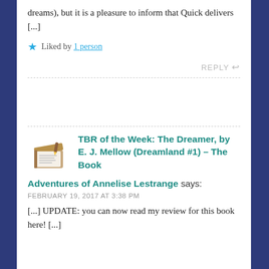dreams), but it is a pleasure to inform that Quick delivers [...]
Liked by 1 person
REPLY
TBR of the Week: The Dreamer, by E. J. Mellow (Dreamland #1) – The Book Adventures of Annelise Lestrange says:
FEBRUARY 19, 2017 AT 3:38 PM
[...] UPDATE: you can now read my review for this book here! [...]